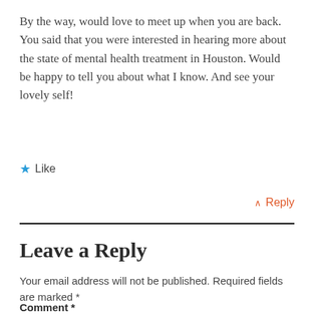By the way, would love to meet up when you are back. You said that you were interested in hearing more about the state of mental health treatment in Houston. Would be happy to tell you about what I know. And see your lovely self!
★ Like
↑ Reply
Leave a Reply
Your email address will not be published. Required fields are marked *
Comment *